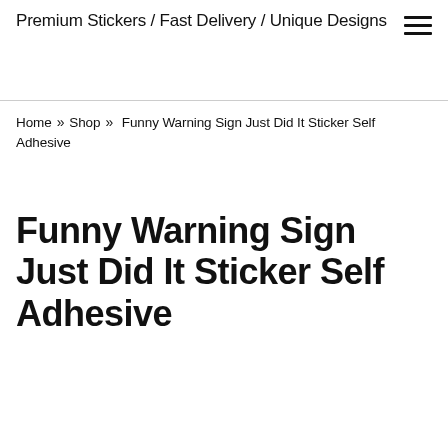Premium Stickers / Fast Delivery / Unique Designs
Home » Shop » Funny Warning Sign Just Did It Sticker Self Adhesive
Funny Warning Sign Just Did It Sticker Self Adhesive